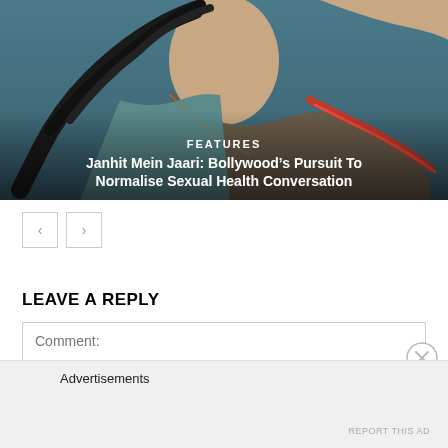[Figure (photo): A Bollywood promotional image showing a person in colorful traditional clothing, serving as hero image for the article about Janhit Mein Jaari. Text overlay includes FEATURES label and article title.]
FEATURES
Janhit Mein Jaari: Bollywood's Pursuit To Normalise Sexual Health Conversation
< >
LEAVE A REPLY
Comment:
Advertisements
REPORT THIS AD